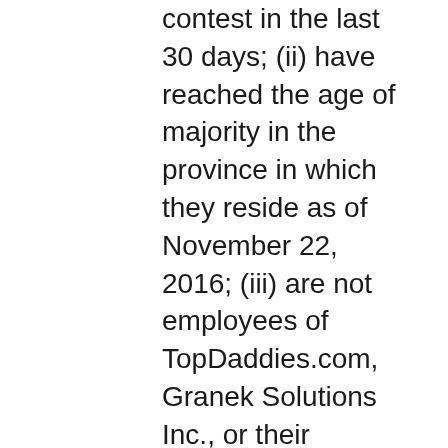contest in the last 30 days; (ii) have reached the age of majority in the province in which they reside as of November 22, 2016; (iii) are not employees of TopDaddies.com, Granek Solutions Inc., or their respective advertising and promotional agencies, the independent judging organization (if any), or any family member living with any such employee. 2. No purchase necessary. Entries must be received no later than 11:59 pm Pacific Time on December